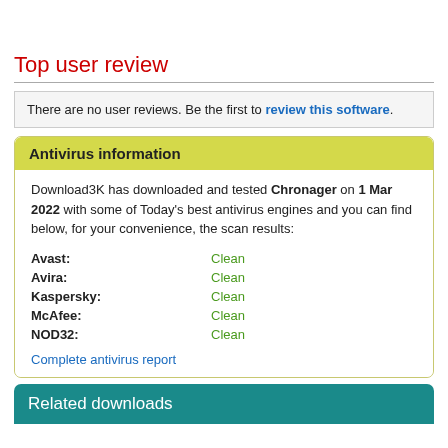Top user review
There are no user reviews. Be the first to review this software.
Antivirus information
Download3K has downloaded and tested Chronager on 1 Mar 2022 with some of Today’s best antivirus engines and you can find below, for your convenience, the scan results:
Avast: Clean
Avira: Clean
Kaspersky: Clean
McAfee: Clean
NOD32: Clean
Complete antivirus report
Related downloads